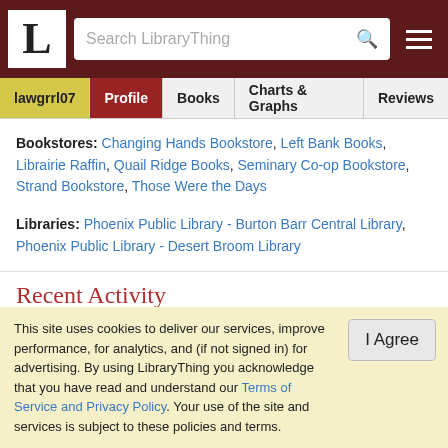L [LibraryThing logo] | Search LibraryThing | [hamburger menu]
lawgrrl07 | Profile | Books | Charts & Graphs | Reviews
Bookstores: Changing Hands Bookstore, Left Bank Books, Librairie Raffin, Quail Ridge Books, Seminary Co-op Bookstore, Strand Bookstore, Those Were the Days
Libraries: Phoenix Public Library - Burton Barr Central Library, Phoenix Public Library - Desert Broom Library
Recent Activity
lawgrrl07 added:
This site uses cookies to deliver our services, improve performance, for analytics, and (if not signed in) for advertising. By using LibraryThing you acknowledge that you have read and understand our Terms of Service and Privacy Policy. Your use of the site and services is subject to these policies and terms.